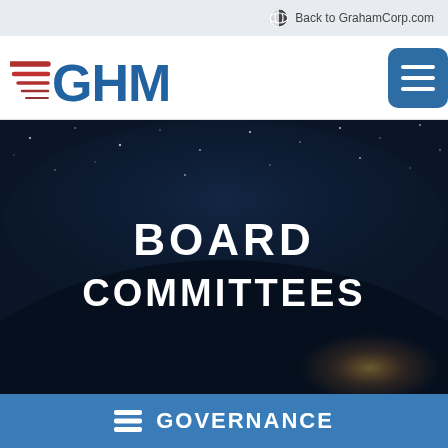Back to GrahamCorp.com
[Figure (logo): GHM logo with red speed lines and blue bold text GHM]
[Figure (photo): Dark space/earth hero image with text BOARD COMMITTEES in white uppercase letters against a dark starfield and planet arc background]
BOARD COMMITTEES
GOVERNANCE